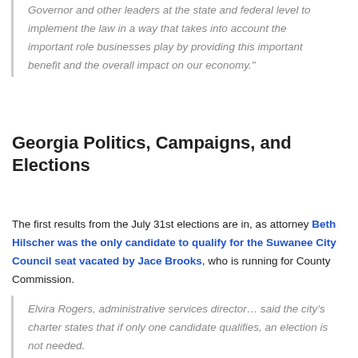Governor and other leaders at the state and federal level to implement the law in a way that takes into account the important role businesses play by providing this important benefit and the overall impact on our economy."
Georgia Politics, Campaigns, and Elections
The first results from the July 31st elections are in, as attorney Beth Hilscher was the only candidate to qualify for the Suwanee City Council seat vacated by Jace Brooks, who is running for County Commission.
Elvira Rogers, administrative services director... said the city's charter states that if only one candidate qualifies, an election is not needed.